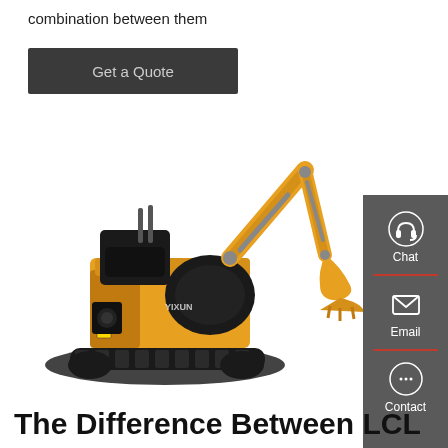combination between them
Get a Quote
[Figure (photo): Yellow mini excavator with articulated arm and bucket on rubber tracks, photographed on white background]
Chat
Email
Contact
The Difference Between LCL